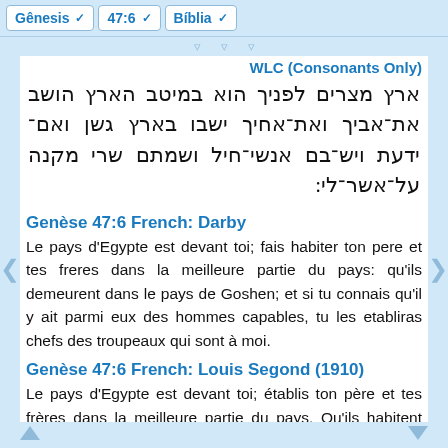Gênesis  47:6  Bíblia
WLC (Consonants Only)
ארץ מצרים לפניך הוא במיטב הארץ הושב את־אביך ואת־אחיך ישבו בארץ גשן ואם־ידעת ויש־בם אנשי־חיל ושמתם שרי מקנה על־אשר־לי:
Genèse 47:6 French: Darby
Le pays d'Egypte est devant toi; fais habiter ton pere et tes freres dans la meilleure partie du pays: qu'ils demeurent dans le pays de Goshen; et si tu connais qu'il y ait parmi eux des hommes capables, tu les etabliras chefs des troupeaux qui sont à moi.
Genèse 47:6 French: Louis Segond (1910)
Le pays d'Egypte est devant toi; établis ton père et tes frères dans la meilleure partie du pays. Qu'ils habitent dans le pays de Gosen; et, si tu trouves parmi eux des hommes capables, mets-les à la tête